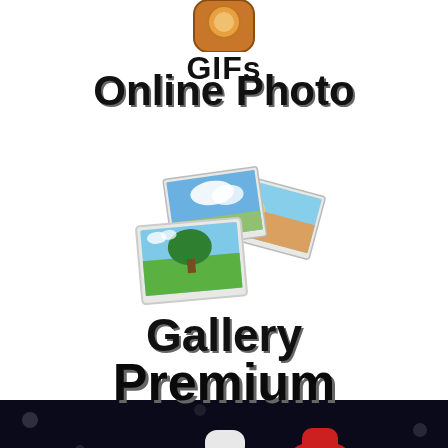[Figure (logo): App icon showing orange/brown shape (top portion cut off) with text GIFs below it]
Online Photo Gallery
[Figure (illustration): Three overlapping photo thumbnails showing landscape scenes (sky with moon, tree with sky, beach scene)]
Premium
[Figure (photo): Group of people at a party/photo booth wearing fun props including oversized pink sunglasses, white hat, red fedora, and holding accessories, smiling at camera in dark setting]